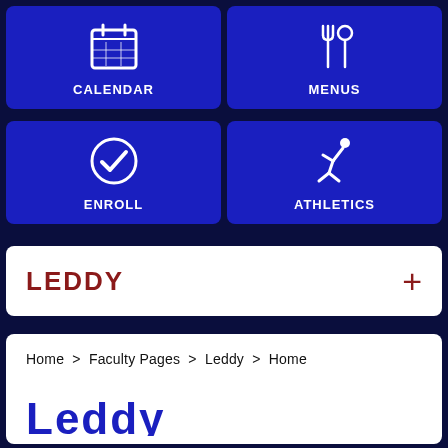[Figure (infographic): Blue tile button with calendar icon labeled CALENDAR]
[Figure (infographic): Blue tile button with fork and spoon icon labeled MENUS]
[Figure (infographic): Blue tile button with checkmark icon labeled ENROLL]
[Figure (infographic): Blue tile button with running figure icon labeled ATHLETICS]
LEDDY
Home > Faculty Pages > Leddy > Home